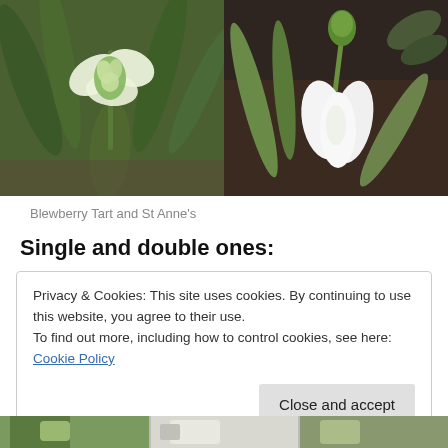[Figure (photo): Two side-by-side photographs of snowdrop flowers: left shows a double-flowered variety (Blewberry Tart), right shows a single-flowered variety (St Anne's), both set against green foliage and dark soil background.]
Blewberry Tart and St Anne's
Single and double ones:
Privacy & Cookies: This site uses cookies. By continuing to use this website, you agree to their use.
To find out more, including how to control cookies, see here: Cookie Policy
[Figure (photo): Bottom strip showing partial photographs of snowdrops.]